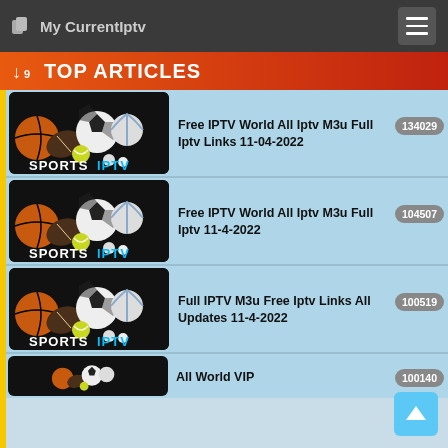My CurrentIptv
TOP ARTICLES
Free IPTV World All Iptv M3u Full Iptv Links 11-04-2022 | 134029
Free IPTV World All Iptv M3u Full Iptv 11-4-2022 | 104507
Full IPTV M3u Free Iptv Links All Updates 11-4-2022 | 100519
All World VIP | 100140